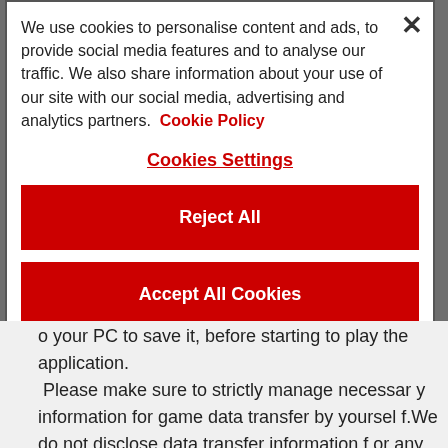We use cookies to personalise content and ads, to provide social media features and to analyse our traffic. We also share information about your use of our site with our social media, advertising and analytics partners. Cookie Policy
Cookies Settings
Reject All
Accept All Cookies
o your PC to save it, before starting to play the application.
Please make sure to strictly manage necessary information for game data transfer by yourself.We do not disclose data transfer information for any reason (loss etc.)
□Saving a screenshot or e-mail on your device